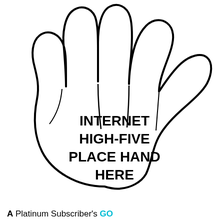[Figure (illustration): Line drawing of an open hand (palm facing viewer) with the text INTERNET HIGH-FIVE PLACE HAND HERE written in bold black capital letters on the palm area.]
A Platinum Subscriber's GO